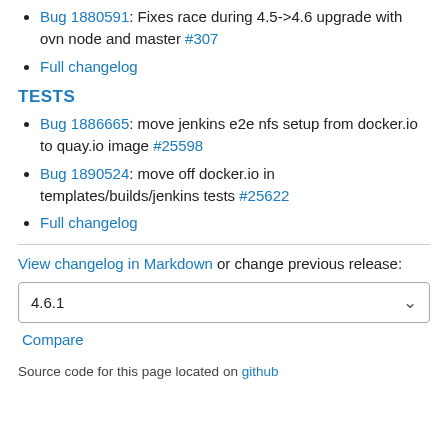Bug 1880591: Fixes race during 4.5->4.6 upgrade with ovn node and master #307
Full changelog
TESTS
Bug 1886665: move jenkins e2e nfs setup from docker.io to quay.io image #25598
Bug 1890524: move off docker.io in templates/builds/jenkins tests #25622
Full changelog
View changelog in Markdown or change previous release:
4.6.1
Compare
Source code for this page located on github